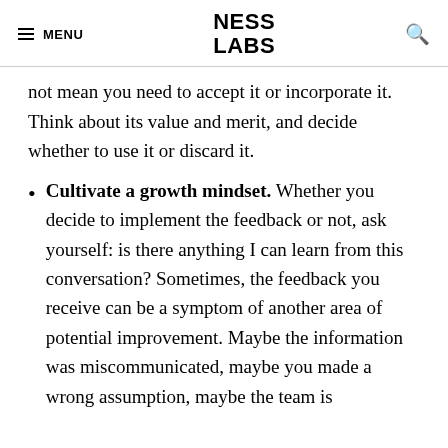MENU | NESS LABS | [search icon]
not mean you need to accept it or incorporate it. Think about its value and merit, and decide whether to use it or discard it.
Cultivate a growth mindset. Whether you decide to implement the feedback or not, ask yourself: is there anything I can learn from this conversation? Sometimes, the feedback you receive can be a symptom of another area of potential improvement. Maybe the information was miscommunicated, maybe you made a wrong assumption, maybe the team is